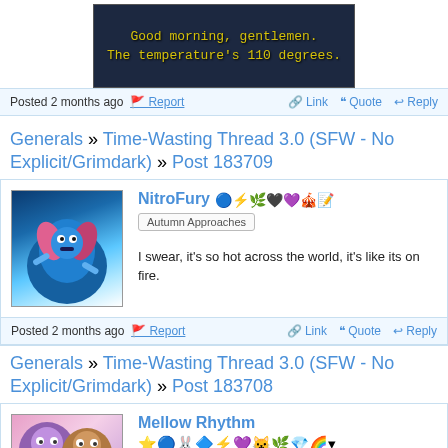[Figure (screenshot): Dark screenshot with yellow subtitle text: 'Good morning, gentlemen. The temperature's 110 degrees.']
Posted 2 months ago | Report | Link | Quote | Reply
Generals » Time-Wasting Thread 3.0 (SFW - No Explicit/Grimdark) » Post 183709
[Figure (illustration): Avatar image of NitroFury - blue bird Pokemon-like character]
NitroFury
Autumn Approaches
I swear, it's so hot across the world, it's like its on fire.
Posted 2 months ago | Report | Link | Quote | Reply
Generals » Time-Wasting Thread 3.0 (SFW - No Explicit/Grimdark) » Post 183708
[Figure (illustration): Avatar image of Mellow Rhythm - purple and brown pony characters]
Mellow Rhythm